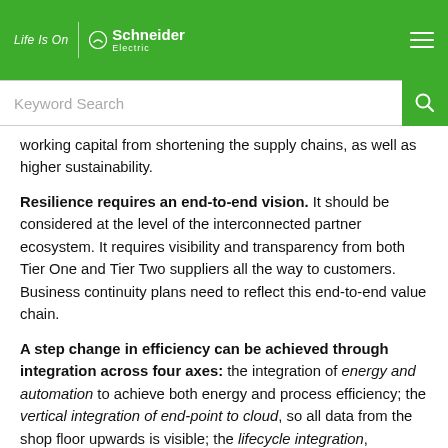Life Is On | Schneider Electric
Keyword Search
working capital from shortening the supply chains, as well as higher sustainability.
Resilience requires an end-to-end vision. It should be considered at the level of the interconnected partner ecosystem. It requires visibility and transparency from both Tier One and Tier Two suppliers all the way to customers. Business continuity plans need to reflect this end-to-end value chain.
A step change in efficiency can be achieved through integration across four axes: the integration of energy and automation to achieve both energy and process efficiency; the vertical integration of end-point to cloud, so all data from the shop floor upwards is visible; the lifecycle integration, capturing data from design and build, all the way to operation and maintenance, to eliminate the inefficiencies in the transition from CapEx to OpEx; and the integration of all sites and workshops into One Unified Operation Center for a big-picture view of energy and resource